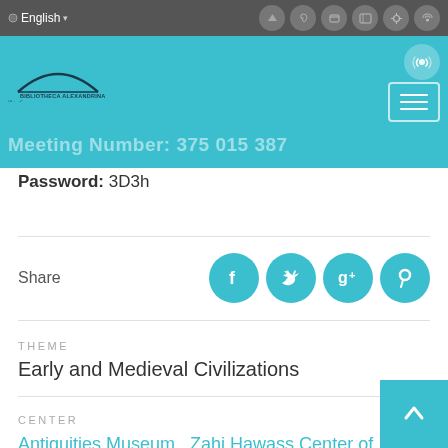English
[Figure (screenshot): Bibliotheca Alexandrina website header with teal background, logo, and menu button]
Password: 3D3h
Share
THEME
Early and Medieval Civilizations
CENTER
Antiquities Museum , Zahi Hawass Center of Egyptology